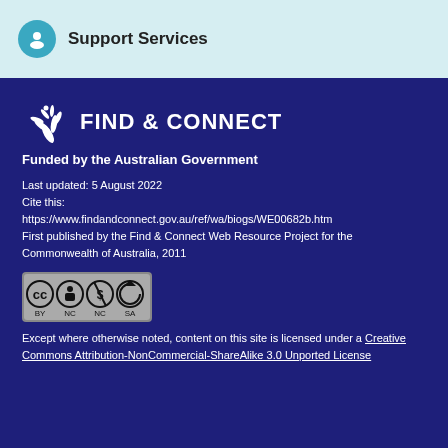Support Services
[Figure (logo): Find & Connect logo with bird/fern motif and text 'FIND & CONNECT', below text 'Funded by the Australian Government']
Last updated: 5 August 2022
Cite this:
https://www.findandconnect.gov.au/ref/wa/biogs/WE00682b.htm
First published by the Find & Connect Web Resource Project for the Commonwealth of Australia, 2011
[Figure (logo): Creative Commons CC BY NC SA license badge]
Except where otherwise noted, content on this site is licensed under a Creative Commons Attribution-NonCommercial-ShareAlike 3.0 Unported License